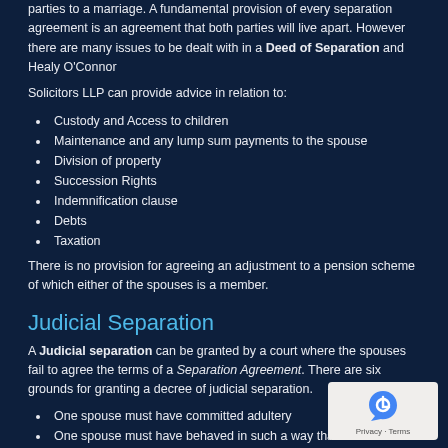parties to a marriage. A fundamental provision of every separation agreement is an agreement that both parties will live apart. However there are many issues to be dealt with in a Deed of Separation and Healy O'Connor
Solicitors LLP can provide advice in relation to:
Custody and Access to children
Maintenance and any lump sum payments to the spouse
Division of property
Succession Rights
Indemnification clause
Debts
Taxation
There is no provision for agreeing an adjustment to a pension scheme of which either of the spouses is a member.
Judicial Separation
A Judicial separation can be granted by a court where the spouses fail to agree the terms of a Separation Agreement. There are six grounds for granting a decree of judicial separation.
One spouse must have committed adultery
One spouse must have behaved in such a way that the other spouse could not